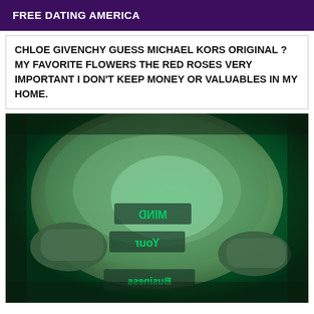FREE DATING AMERICA
CHLOE GIVENCHY GUESS MICHAEL KORS ORIGINAL ? MY FAVORITE FLOWERS THE RED ROSES VERY IMPORTANT I DON'T KEEP MONEY OR VALUABLES IN MY HOME.
[Figure (photo): A close-up photo of a person's torso illuminated by green light, with tattoos visible on the skin. The tattoos appear to show mirrored/reflected text.]